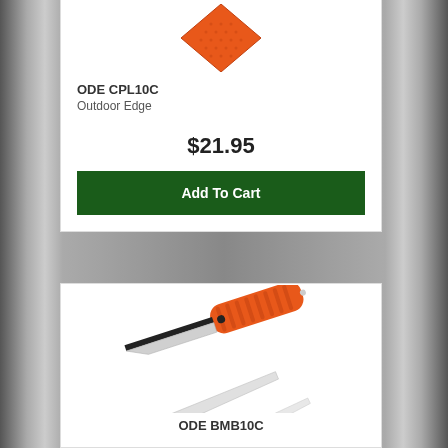[Figure (photo): Orange triangular/diamond shaped product (ODE CPL10C knife sharpener) shown at top of first product card, partially cropped]
ODE CPL10C
Outdoor Edge
$21.95
Add To Cart
[Figure (photo): Orange-handled folding knife with black blade and two additional replacement blades (white/silver) displayed below it - ODE BMB10C product]
ODE BMB10C